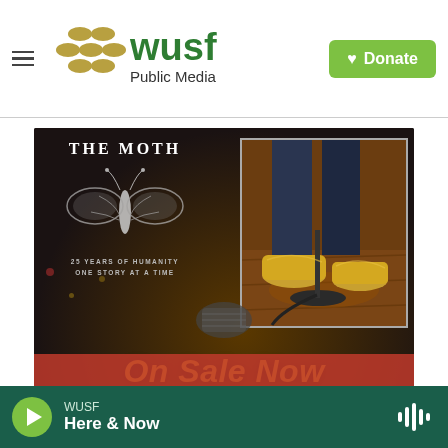WUSF Public Media | Donate
[Figure (illustration): The Moth promotional banner: dark background with moth illustration, text '25 YEARS OF HUMANITY ONE STORY AT A TIME', photo of gold shoes at a microphone stand, and 'On Sale Now' in gold italic text]
[Figure (photo): Partial preview of another article image with red background, partially visible at bottom]
WUSF | Here & Now — audio player bar with play button and waveform icon